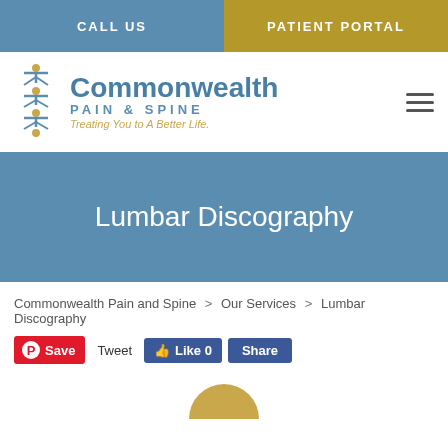CALL US | PATIENT PORTAL
[Figure (logo): Commonwealth Pain & Spine logo with tagline 'Treating You to A Better Life.']
Lumbar Discography
Commonwealth Pain and Spine > Our Services > Lumbar Discography
Save  Tweet  Like 0  Share